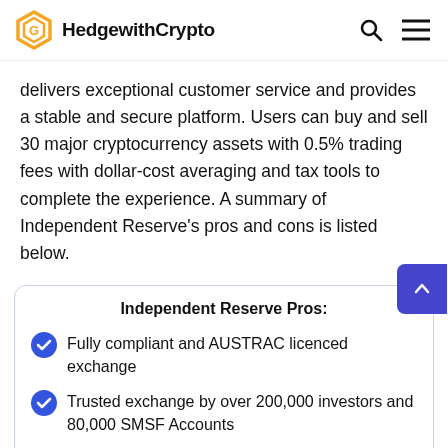HedgewithCrypto
delivers exceptional customer service and provides a stable and secure platform. Users can buy and sell 30 major cryptocurrency assets with 0.5% trading fees with dollar-cost averaging and tax tools to complete the experience. A summary of Independent Reserve's pros and cons is listed below.
Independent Reserve Pros:
Fully compliant and AUSTRAC licenced exchange
Trusted exchange by over 200,000 investors and 80,000 SMSF Accounts